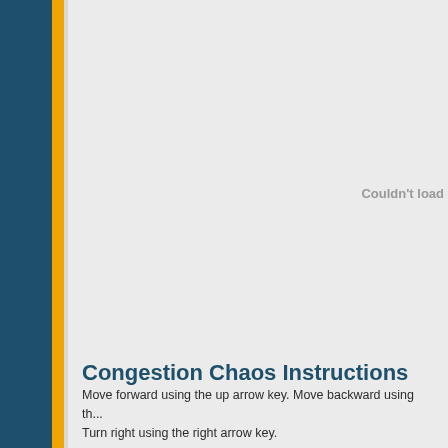[Figure (other): Large image area that failed to load, showing gray background with 'Couldn't load' text]
Congestion Chaos Instructions
Move forward using the up arrow key. Move backward using th...
Turn right using the right arrow key.